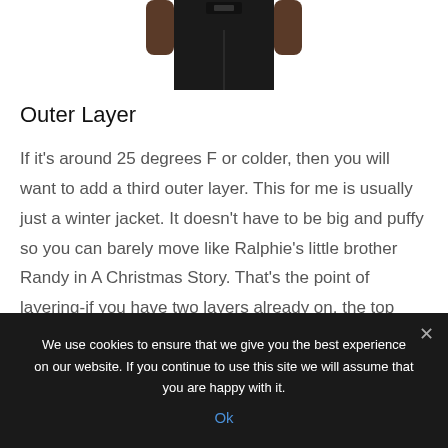[Figure (photo): Partial photo of a person wearing dark/black pants, cropped to show waist and hands at sides, centered on white background]
Outer Layer
If it's around 25 degrees F or colder, then you will want to add a third outer layer. This for me is usually just a winter jacket. It doesn't have to be big and puffy so you can barely move like Ralphie's little brother Randy in A Christmas Story. That's the point of layering-if you have two layers already on, the top layer doesn't
We use cookies to ensure that we give you the best experience on our website. If you continue to use this site we will assume that you are happy with it.
Ok